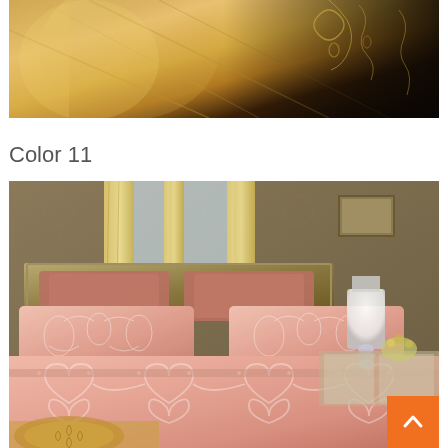[Figure (photo): Close-up of luxurious golden/champagne colored jacquard fabric bedding with floral embroidery pattern against dark background]
Color 11
[Figure (photo): Bedroom scene featuring pink/rose gold jacquard silk bedding set with ornate white scrollwork pattern, multiple pillows, on a bed with gold headboard. Room has damask wallpaper, gold curtains, a white lamp, and mirrored side tables. An orange back-to-top button is visible in the bottom right corner.]